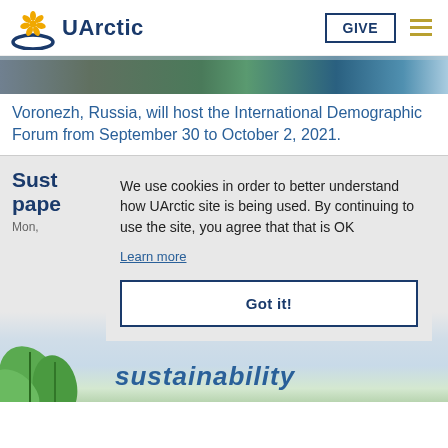UArctic | GIVE
[Figure (photo): Aerial photo strip of Voronezh Russia showing buildings and trees]
Voronezh, Russia, will host the International Demographic Forum from September 30 to October 2, 2021.
Sus... pap...
Mon,
We use cookies in order to better understand how UArctic site is being used. By continuing to use the site, you agree that that is OK
Learn more
Got it!
[Figure (photo): Partial view of green leaves and sustainability text in blue italic]
sustainability